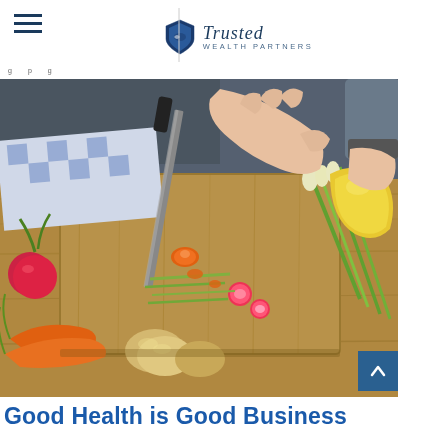Trusted Wealth Partners
[Figure (photo): Person cutting vegetables on a wooden cutting board, with carrots, radishes, potatoes, green onions, and yellow pepper visible on the board and surrounding table.]
Good Health is Good Business